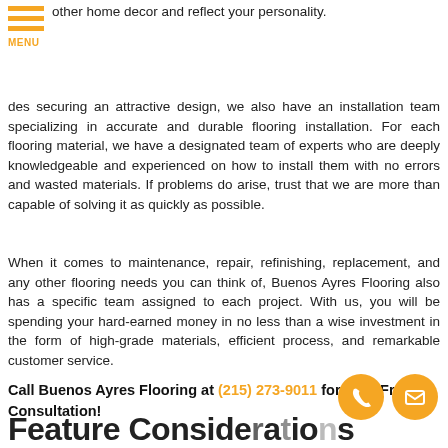other home decor and reflect your personality.
des securing an attractive design, we also have an installation team specializing in accurate and durable flooring installation. For each flooring material, we have a designated team of experts who are deeply knowledgeable and experienced on how to install them with no errors and wasted materials. If problems do arise, trust that we are more than capable of solving it as quickly as possible.
When it comes to maintenance, repair, refinishing, replacement, and any other flooring needs you can think of, Buenos Ayres Flooring also has a specific team assigned to each project. With us, you will be spending your hard-earned money in no less than a wise investment in the form of high-grade materials, efficient process, and remarkable customer service.
Call Buenos Ayres Flooring at (215) 273-9011 for your Free Consultation!
[Figure (illustration): Two circular orange icon buttons: a phone/call icon and an email/envelope icon]
Feature Considerations